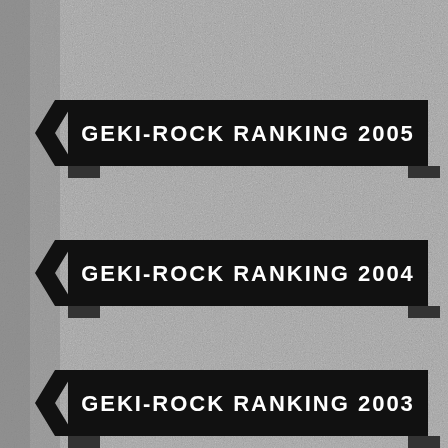[Figure (infographic): Stone/concrete textured background in grayscale]
GEKI-ROCK RANKING 2005
GEKI-ROCK RANKING 2004
GEKI-ROCK RANKING 2003